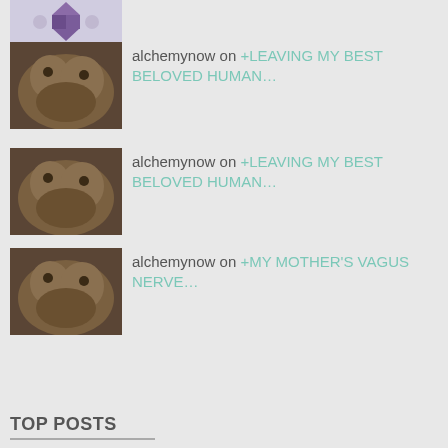[Figure (photo): Decorative logo thumbnail (purple geometric bird/cross pattern)]
alchemynow on +LEAVING MY BEST BELOVED HUMAN…
alchemynow on +LEAVING MY BEST BELOVED HUMAN…
alchemynow on +MY MOTHER'S VAGUS NERVE…
alchemynow on +SEVEN GENERATIONS FORWARD, SE…
alchemynow on +SEVEN GENERATIONS FORWARD, SE…
Clinton vs. Trump or… on +SEVEN GENERATIONS FORWARD, SE…
TOP POSTS